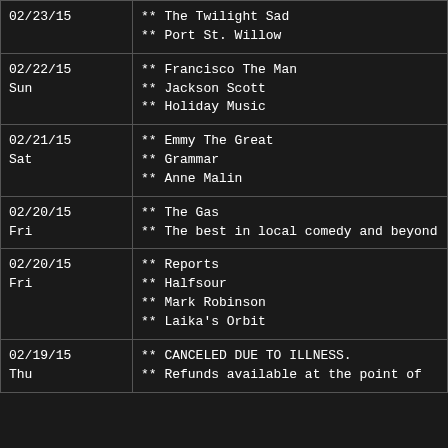| Date | Events |
| --- | --- |
| 02/23/15 | ** The Twilight Sad
** Port St. Willow |
| 02/22/15
Sun | ** Francisco The Man
** Jackson Scott
** Holiday Music |
| 02/21/15
Sat | ** Emmy The Great
** Grammar
** Anne Malin |
| 02/20/15
Fri | ** The Gas
** The best in local comedy and beyond |
| 02/20/15
Fri | ** Reports
** Halfsour
** Mark Robinson
** Laika's Orbit |
| 02/19/15
Thu | ** CANCELED DUE TO ILLNESS.
** Refunds available at the point of |